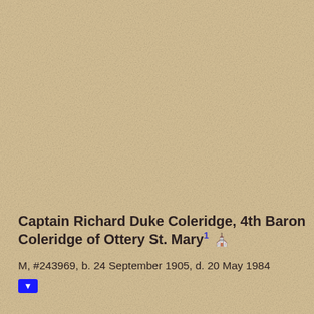Captain Richard Duke Coleridge, 4th Baron Coleridge of Ottery St. Mary1 🪦
M, #243969, b. 24 September 1905, d. 20 May 1984